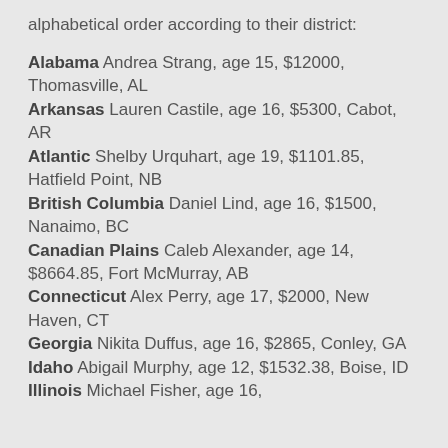alphabetical order according to their district:
Alabama Andrea Strang, age 15, $12000, Thomasville, AL
Arkansas Lauren Castile, age 16, $5300, Cabot, AR
Atlantic Shelby Urquhart, age 19, $1101.85, Hatfield Point, NB
British Columbia Daniel Lind, age 16, $1500, Nanaimo, BC
Canadian Plains Caleb Alexander, age 14, $8664.85, Fort McMurray, AB
Connecticut Alex Perry, age 17, $2000, New Haven, CT
Georgia Nikita Duffus, age 16, $2865, Conley, GA
Idaho Abigail Murphy, age 12, $1532.38, Boise, ID
Illinois Michael Fisher, age 16,